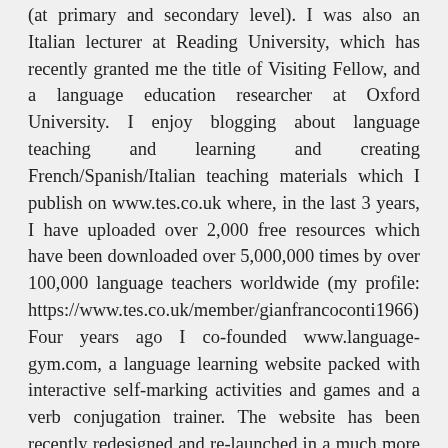(at primary and secondary level). I was also an Italian lecturer at Reading University, which has recently granted me the title of Visiting Fellow, and a language education researcher at Oxford University. I enjoy blogging about language teaching and learning and creating French/Spanish/Italian teaching materials which I publish on www.tes.co.uk where, in the last 3 years, I have uploaded over 2,000 free resources which have been downloaded over 5,000,000 times by over 100,000 language teachers worldwide (my profile: https://www.tes.co.uk/member/gianfrancoconti1966). Four years ago I co-founded www.language-gym.com, a language learning website packed with interactive self-marking activities and games and a verb conjugation trainer. The website has been recently redesigned and re-launched in a much more user-friendly and stylish form and now offers four languages. I am a keen language learner. I speak English, Italian, French, Spanish and German fluently, get by in Malay and Swedish and I have some basic knowledge of Modern Greek, Japanese, Russian…